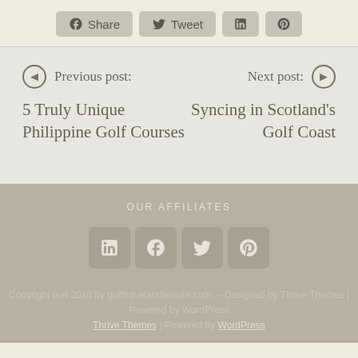[Figure (other): Social share buttons row: Facebook Share, Twitter Tweet, LinkedIn icon, Pinterest icon]
Previous post: 5 Truly Unique Philippine Golf Courses
Next post: Syncing in Scotland's Golf Coast
OUR AFFILIATES
[Figure (other): Four social media icons in footer: LinkedIn, Facebook, Twitter, Pinterest]
Copyright text 2018 by golftravelandleisure.com.  – Designed by Thrive Themes | Powered by WordPress